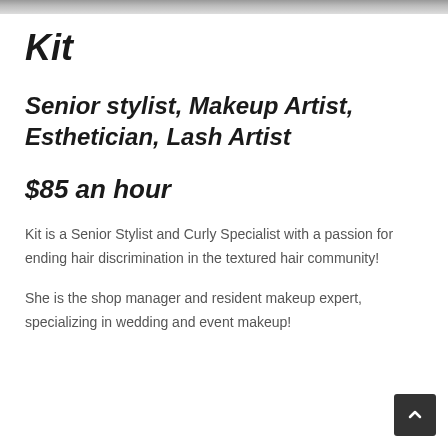[Figure (photo): Partial photo strip at top of page showing a person in white clothing]
Kit
Senior stylist, Makeup Artist, Esthetician, Lash Artist
$85 an hour
Kit is a Senior Stylist and Curly Specialist with a passion for ending hair discrimination in the textured hair community!
She is the shop manager and resident makeup expert, specializing in wedding and event makeup!